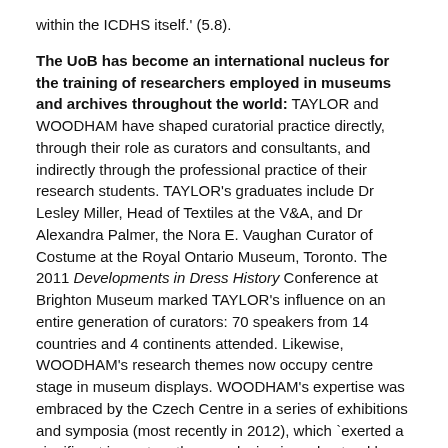within the ICDHS itself.' (5.8).
The UoB has become an international nucleus for the training of researchers employed in museums and archives throughout the world: TAYLOR and WOODHAM have shaped curatorial practice directly, through their role as curators and consultants, and indirectly through the professional practice of their research students. TAYLOR's graduates include Dr Lesley Miller, Head of Textiles at the V&A, and Dr Alexandra Palmer, the Nora E. Vaughan Curator of Costume at the Royal Ontario Museum, Toronto. The 2011 Developments in Dress History Conference at Brighton Museum marked TAYLOR's influence on an entire generation of curators: 70 speakers from 14 countries and 4 continents attended. Likewise, WOODHAM's research themes now occupy centre stage in museum displays. WOODHAM's expertise was embraced by the Czech Centre in a series of exhibitions and symposia (most recently in 2012), which `exerted a significant impact on the way design is understood by designers, historians and the public inside and outside the Republic, whether in terms of the Czech and Czechoslovakian cultural legacy and the relationship to politics, economies and Europe, or the design